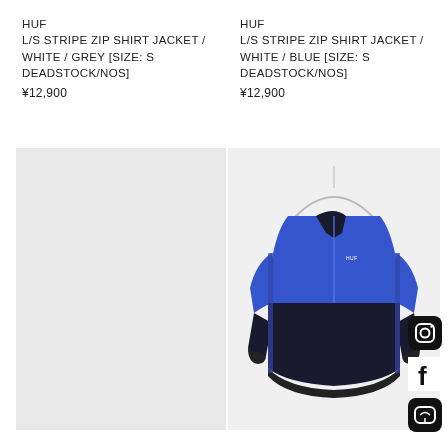HUF
L/S STRIPE ZIP SHIRT JACKET / WHITE / GREY [SIZE: S DEADSTOCK/NOS]
¥12,900
HUF
L/S STRIPE ZIP SHIRT JACKET / WHITE / BLUE [SIZE: S DEADSTOCK/NOS]
¥12,900
[Figure (photo): Light grey/empty product image placeholder for HUF L/S Stripe Zip Shirt Jacket in White/Grey]
[Figure (photo): Photo of HUF L/S Stripe Zip Shirt Jacket in White/Blue colorway, hung on a hanger, showing blue upper body and black lower body with side stripes]